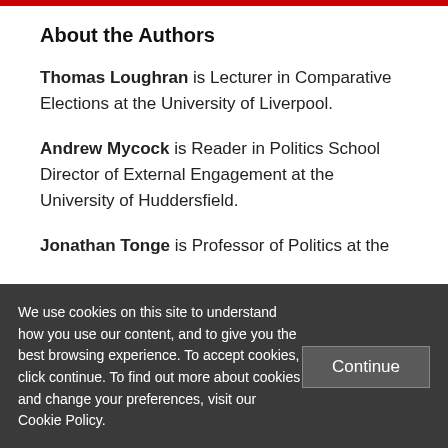About the Authors
Thomas Loughran is Lecturer in Comparative Elections at the University of Liverpool.
Andrew Mycock is Reader in Politics School Director of External Engagement at the University of Huddersfield.
Jonathan Tonge is Professor of Politics at the
We use cookies on this site to understand how you use our content, and to give you the best browsing experience. To accept cookies, click continue. To find out more about cookies and change your preferences, visit our Cookie Policy.